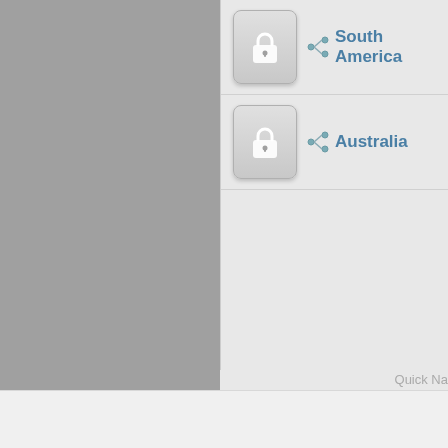[Figure (screenshot): UI panel showing two locked region items: South America and Australia, each with a lock button icon and a branch/tree icon. Partial 'Quick Na' text visible at bottom right. Left portion shows grey sidebar area. Bottom shows a light grey footer bar.]
South America
Australia
Quick Na